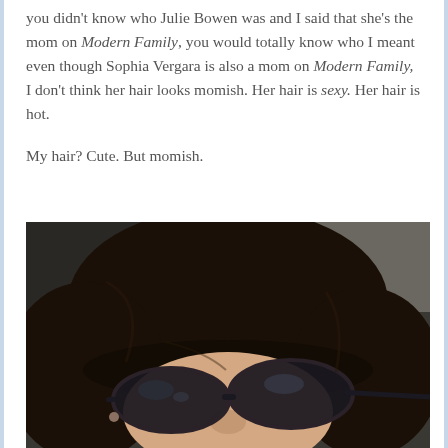you didn't know who Julie Bowen was and I said that she's the mom on Modern Family, you would totally know who I meant even though Sophia Vergara is also a mom on Modern Family, I don't think her hair looks momish. Her hair is sexy. Her hair is hot.

My hair? Cute. But momish.
[Figure (photo): Close-up selfie of a person with dark brown bob haircut with bangs wearing large dark sunglasses, taken in what appears to be a car interior]